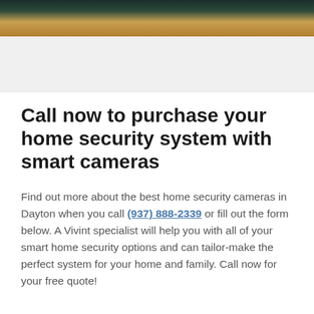[Figure (photo): Partial photo of a person, cropped — dark green and orange tones visible at the top of the page]
Call now to purchase your home security system with smart cameras
Find out more about the best home security cameras in Dayton when you call (937) 888-2339 or fill out the form below. A Vivint specialist will help you with all of your smart home security options and can tailor-make the perfect system for your home and family. Call now for your free quote!